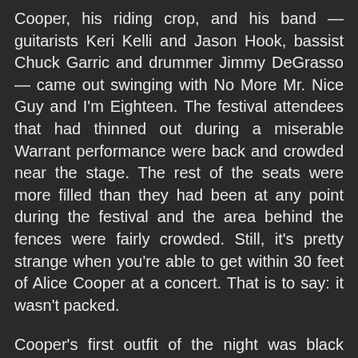Cooper, his riding crop, and his band — guitarists Keri Kelli and Jason Hook, bassist Chuck Garric and drummer Jimmy DeGrasso — came out swinging with No More Mr. Nice Guy and I'm Eighteen. The festival attendees that had thinned out during a miserable Warrant performance were back and crowded near the stage. The rest of the seats were more filled than they had been at any point during the festival and the area behind the fences were fairly crowded. Still, it's pretty strange when you're able to get within 30 feet of Alice Cooper at a concert. That is to say: it wasn't packed.
Cooper's first outfit of the night was black decorated with silver spangles and topped off with a girdle-ish belt with a skull. Songs early in the set included Dirty Diamonds, Woman of Mass...